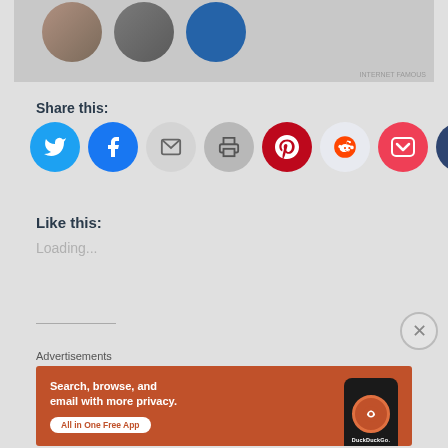[Figure (photo): Partial view of user avatars/profile photos cropped at top of page]
Share this:
[Figure (infographic): Row of social sharing icon buttons: Twitter, Facebook, Email, Print, Pinterest, Reddit, Pocket, Tumblr]
Like this:
Loading...
Advertisements
[Figure (infographic): DuckDuckGo advertisement banner: Search, browse, and email with more privacy. All in One Free App. Shows phone with DuckDuckGo logo.]